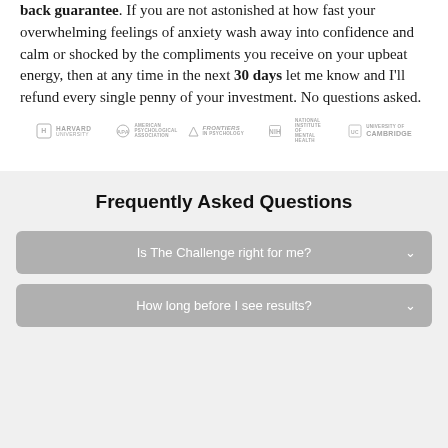back guarantee. If you are not astonished at how fast your overwhelming feelings of anxiety wash away into confidence and calm or shocked by the compliments you receive on your upbeat energy, then at any time in the next 30 days let me know and I'll refund every single penny of your investment. No questions asked.
[Figure (logo): Row of institution logos: Harvard University, American Psychological Association, Frontiers in Psychology, NIH National Institute of Mental Health, University of Cambridge]
Frequently Asked Questions
Is The Challenge right for me?
How long before I see results?